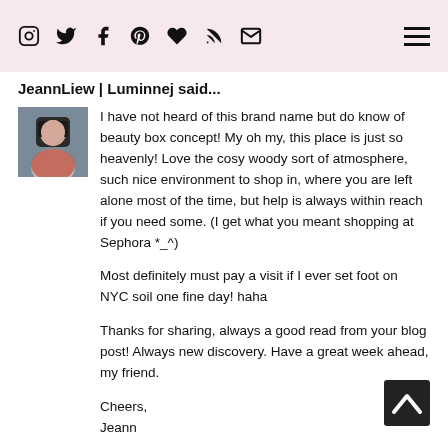Social icons: Instagram, Twitter, Facebook, Pinterest, Heart, RSS, Mail; Hamburger menu
JeannLiew | Luminnej said...
I have not heard of this brand name but do know of beauty box concept! My oh my, this place is just so heavenly! Love the cosy woody sort of atmosphere, such nice environment to shop in, where you are left alone most of the time, but help is always within reach if you need some. (I get what you meant shopping at Sephora *_^)

Most definitely must pay a visit if I ever set foot on NYC soil one fine day! haha

Thanks for sharing, always a good read from your blog post! Always new discovery. Have a great week ahead, my friend.

Cheers,
Jeann
August 19, 2014 at 11:19 AM